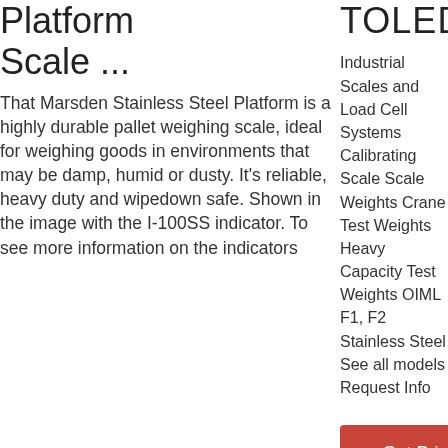Platform Scale ...
That Marsden Stainless Steel Platform is a highly durable pallet weighing scale, ideal for weighing goods in environments that may be damp, humid or dusty. It's reliable, heavy duty and wipedown safe. Shown in the image with the I-100SS indicator. To see more information on the indicators
TOLEDO
Industrial Scales and Load Cell Systems Calibrating Scale Scale Weights Crane Test Weights Heavy Capacity Test Weights OIML F1, F2 Stainless Steel See all models Request Info
Get Price